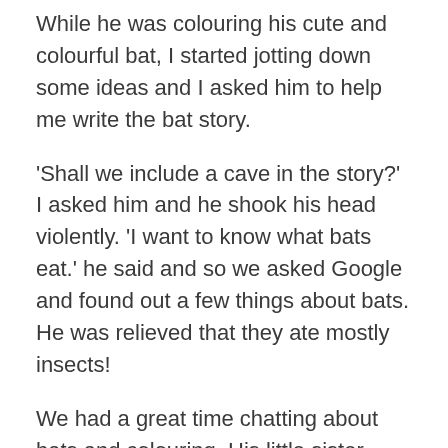While he was colouring his cute and colourful bat, I started jotting down some ideas and I asked him to help me write the bat story.
'Shall we include a cave in the story?' I asked him and he shook his head violently. 'I want to know what bats eat.' he said and so we asked Google and found out a few things about bats. He was relieved that they ate mostly insects!
We had a great time chatting about bats and colouring. His little sister joined us in the fun and his mum, my daughter, popped in now and again to check on our progress and chat. It was a lovely way to spend the evening, so I'm puzzled as to why my story took such a sad turn.
I suppose I was thinking how lucky we all are to have